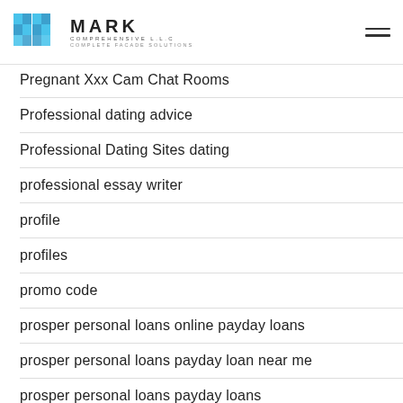MARK COMPREHENSIVE LLC - COMPLETE FACADE SOLUTIONS
Pregnant Xxx Cam Chat Rooms
Professional dating advice
Professional Dating Sites dating
professional essay writer
profile
profiles
promo code
prosper personal loans online payday loans
prosper personal loans payday loan near me
prosper personal loans payday loans